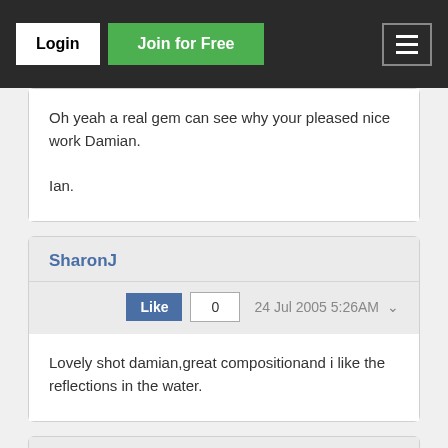Login | Join for Free
Oh yeah a real gem can see why your pleased nice work Damian.

Ian.
SharonJ
Like 0  24 Jul 2005 5:26AM
Lovely shot damian,great compositionand i like the reflections in the water.
lcmerrin